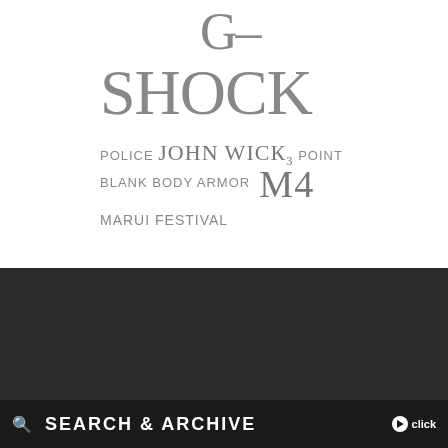G–
SHOCK
POLICE JOHN WICK3 POINT BLANK BODY ARMOR M4
MARUI FESTIVAL
ABOUT US
CATEGORIES
SG-FASHION-SNAP.COMのEVENT PHOTO (23) ファッションスナップ(別名: ストリートスナップ)を中心としたファッション系のWebメディア・マガジンです。
GUN (335)
INSERT (…)
🔍 SEARCH & ARCHIVE ▶ click